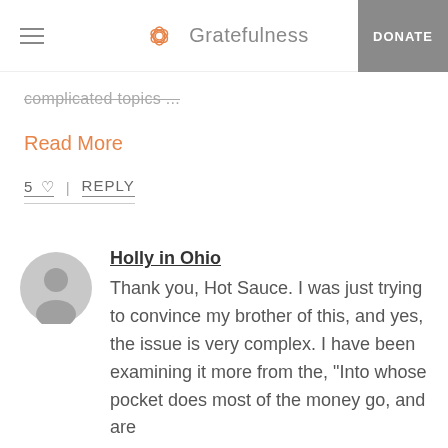Gratefulness | DONATE
complicated topics ...
Read More
5 ♡ | REPLY
Holly in Ohio
Thank you, Hot Sauce. I was just trying to convince my brother of this, and yes, the issue is very complex. I have been examining it more from the, "Into whose pocket does most of the money go, and are